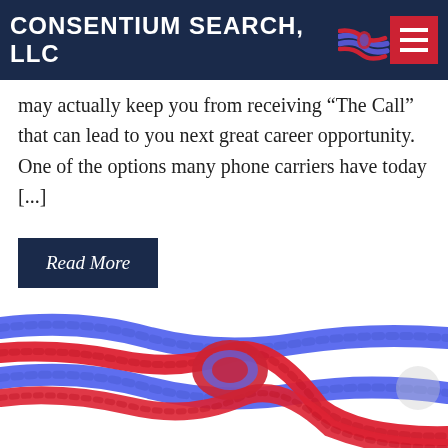CONSENTIUM SEARCH, LLC
may actually keep you from receiving “The Call” that can lead to you next great career opportunity. One of the options many phone carriers have today [...]
Read More
Job Search Advice
[Figure (photo): Close-up photo of red and blue twisted ropes tied in a knot against a white background]